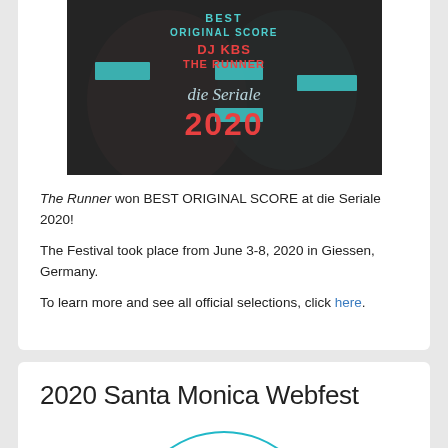[Figure (photo): Award announcement image showing 'BEST ORIGINAL SCORE - DJ KBS - THE RUNNER - die Seriale 2020' text overlaid on a dark cinematic background]
The Runner won BEST ORIGINAL SCORE at die Seriale 2020!
The Festival took place from June 3-8, 2020 in Giessen, Germany.
To learn more and see all official selections, click here.
2020 Santa Monica Webfest
[Figure (logo): Santa Monica Webfest (SMW) logo with teal laurel wreath, orange/red sunflower emblem, and 'smw' lettering in orange-red with 'Santa Monica' text below]